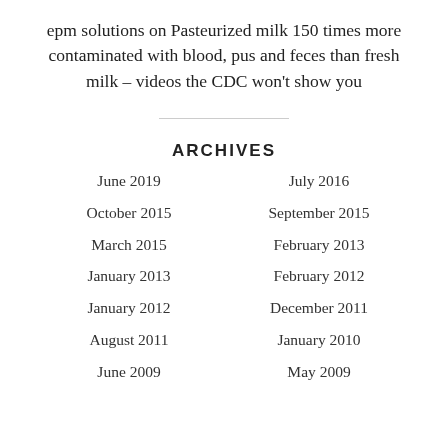epm solutions on Pasteurized milk 150 times more contaminated with blood, pus and feces than fresh milk – videos the CDC won't show you
ARCHIVES
June 2019
July 2016
October 2015
September 2015
March 2015
February 2013
January 2013
February 2012
January 2012
December 2011
August 2011
January 2010
June 2009
May 2009